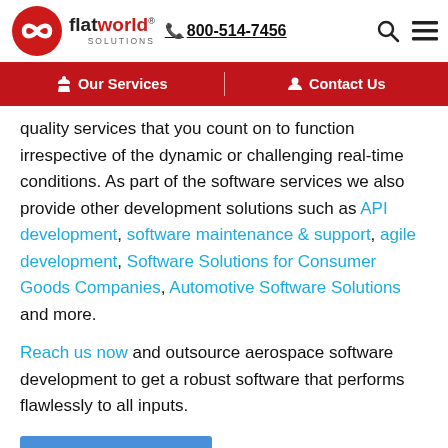flatworld solutions | 800-514-7456
Our Services | Contact Us
quality services that you count on to function irrespective of the dynamic or challenging real-time conditions. As part of the software services we also provide other development solutions such as API development, software maintenance & support, agile development, Software Solutions for Consumer Goods Companies, Automotive Software Solutions and more.
Reach us now and outsource aerospace software development to get a robust software that performs flawlessly to all inputs.
Contact Us